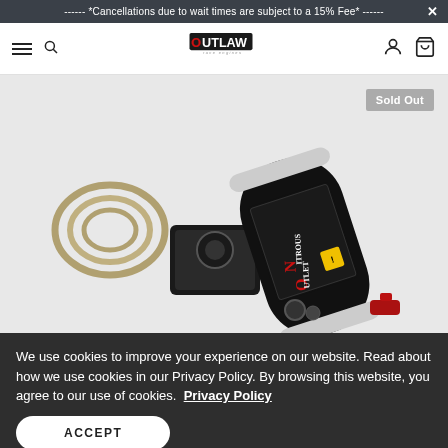------ *Cancellations due to wait times are subject to a 15% Fee* ------
[Figure (screenshot): Outlaw Race Engines website header with hamburger menu, search icon, Outlaw Race Engines logo, account icon, and cart icon]
[Figure (photo): Nitrous Outlet kit product photo showing a black nitrous bottle, mounting bracket, braided hose, and fittings. Sold Out badge in upper right corner.]
We use cookies to improve your experience on our website. Read about how we use cookies in our Privacy Policy. By browsing this website, you agree to our use of cookies.  Privacy Policy
ACCEPT